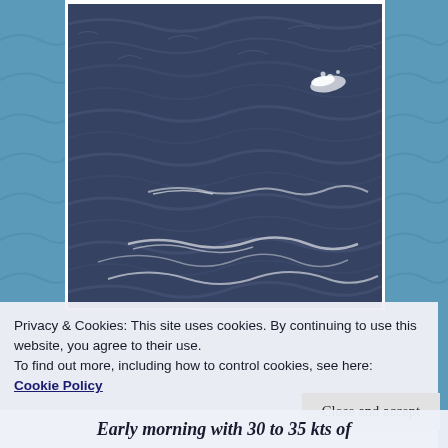[Figure (photo): Aerial or close-up photograph of dark choppy ocean water with waves and white foam/spray visible. The sea surface is rough with rolling swells.]
Privacy & Cookies: This site uses cookies. By continuing to use this website, you agree to their use.
To find out more, including how to control cookies, see here:
Cookie Policy
Close and accept
Early morning with 30 to 35 kts of